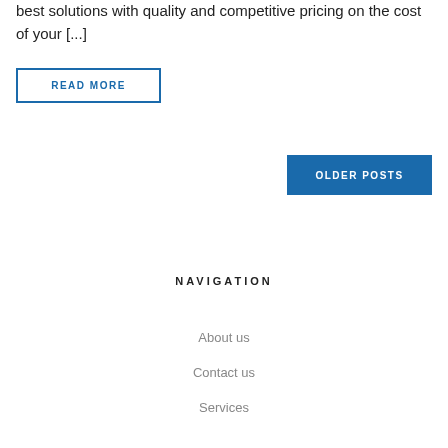best solutions with quality and competitive pricing on the cost of your [...]
READ MORE
OLDER POSTS
NAVIGATION
About us
Contact us
Services